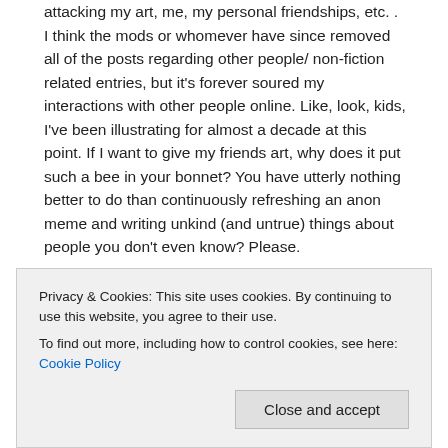attacking my art, me, my personal friendships, etc. . I think the mods or whomever have since removed all of the posts regarding other people/ non-fiction related entries, but it's forever soured my interactions with other people online. Like, look, kids, I've been illustrating for almost a decade at this point. If I want to give my friends art, why does it put such a bee in your bonnet? You have utterly nothing better to do than continuously refreshing an anon meme and writing unkind (and untrue) things about people you don't even know? Please.
The internet, for all the good it can do, has really just brought out the worst in humanity, and put it on full display for a global audience. And, honestly, I have nothing but secondhand embarrassment for people who stand by the nasty things they say. Again, can't we be out there saving dolphins or something? Just a thought.
Privacy & Cookies: This site uses cookies. By continuing to use this website, you agree to their use.
To find out more, including how to control cookies, see here: Cookie Policy
Close and accept